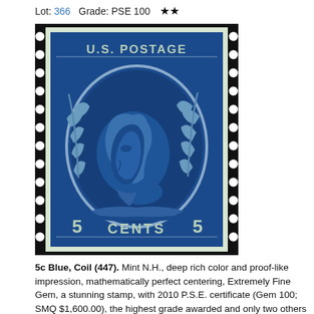Lot: 366   Grade: PSE 100  ★★
[Figure (photo): U.S. 5 Cents Blue coil stamp (Scott #447) featuring George Washington portrait in blue, perforated on left and right sides only, mint condition]
5c Blue, Coil (447). Mint N.H., deep rich color and proof-like impression, mathematically perfect centering, Extremely Fine Gem, a stunning stamp, with 2010 P.S.E. certificate (Gem 100; SMQ $1,600.00), the highest grade awarded and only two others share it